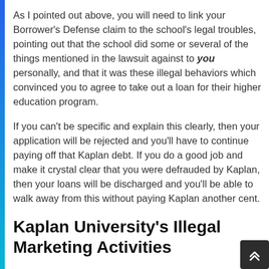As I pointed out above, you will need to link your Borrower's Defense claim to the school's legal troubles, pointing out that the school did some or several of the things mentioned in the lawsuit against to you personally, and that it was these illegal behaviors which convinced you to agree to take out a loan for their higher education program.
If you can't be specific and explain this clearly, then your application will be rejected and you'll have to continue paying off that Kaplan debt. If you do a good job and make it crystal clear that you were defrauded by Kaplan, then your loans will be discharged and you'll be able to walk away from this without paying Kaplan another cent.
Kaplan University's Illegal Marketing Activities